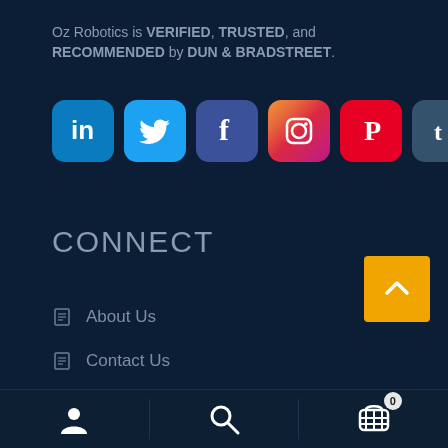Oz Robotics is VERIFIED, TRUSTED, and RECOMMENDED by DUN & BRADSTREET.
[Figure (illustration): Six social media icons in a row: LinkedIn (blue), Twitter (light blue), Facebook (dark blue/purple), Instagram (gradient), Pinterest (red), Tumblr (dark teal)]
CONNECT
About Us
Contact Us
Businesses buying from Oz Robotics
Schools buying from Oz Robotics
[Figure (illustration): Bottom navigation bar with user/account icon, search icon, and shopping cart icon with badge showing 0]